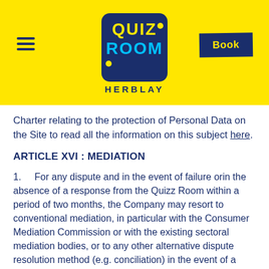[Figure (logo): Quiz Room Herblay logo in blue and yellow on yellow background with hamburger menu and Book button]
Charter relating to the protection of Personal Data on the Site to read all the information on this subject here.
ARTICLE XVI : MEDIATION
1.     For any dispute and in the event of failure orin the absence of a response from the Quizz Room within a period of two months, the Company may resort to conventional mediation, in particular with the Consumer Mediation Commission or with the existing sectoral mediation bodies, or to any other alternative dispute resolution method (e.g. conciliation) in the event of a dispute.
2.     It is always possible to accept or refuse recourse to mediation and, if mediation is